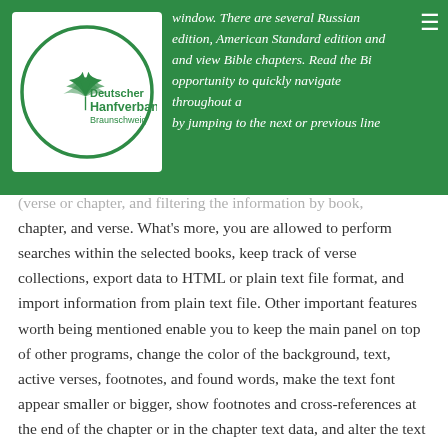[Figure (logo): Deutscher Hanfverband Braunschweig logo — circular green border with cannabis leaf icon and text]
window. There are several Russian edition, American Standard edition and and view Bible chapters. Read the Bi opportunity to quickly navigate throughout a by jumping to the next or previous line (verse or chapter, and filtering the information by book, chapter, and verse. What's more, you are allowed to perform searches within the selected books, keep track of verse collections, export data to HTML or plain text file format, and import information from plain text file. Other important features worth being mentioned enable you to keep the main panel on top of other programs, change the color of the background, text, active verses, footnotes, and found words, make the text font appear smaller or bigger, show footnotes and cross-references at the end of the chapter or in the chapter text data, and alter the text in terms of font, font style, and size. The application lets you set up proxy